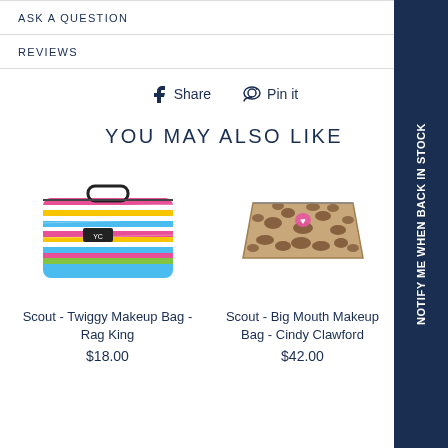ASK A QUESTION
REVIEWS
f Share   Pin it
YOU MAY ALSO LIKE
[Figure (photo): Scout - Twiggy Makeup Bag in Rag King pattern, colorful horizontal stripe design]
Scout - Twiggy Makeup Bag - Rag King
$18.00
[Figure (photo): Scout - Big Mouth Makeup Bag in Cindy Clawford pattern, leopard print design with pink detail]
Scout - Big Mouth Makeup Bag - Cindy Clawford
$42.00
Sco...